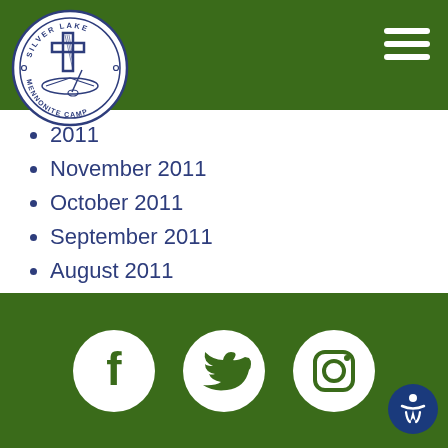[Figure (logo): Silver Lake Mennonite Camp circular logo with cross and canoe imagery]
2011
November 2011
October 2011
September 2011
August 2011
July 2011
February 2011
August 2010
[Figure (logo): Social media icons: Facebook, Twitter, Instagram in white circles on green footer bar]